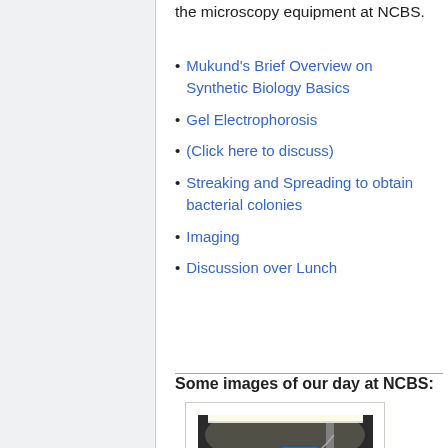the microscopy equipment at NCBS.
Mukund's Brief Overview on Synthetic Biology Basics
Gel Electrophorosis
(Click here to discuss)
Streaking and Spreading to obtain bacterial colonies
Imaging
Discussion over Lunch
Some images of our day at NCBS:
[Figure (photo): Laboratory equipment showing gel electrophoresis setup with blue glowing containers illuminated by overhead light, on a lab bench.]